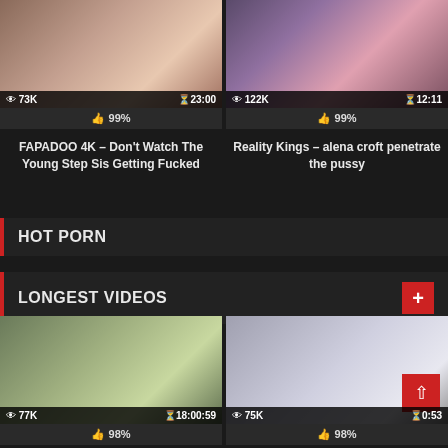[Figure (screenshot): Thumbnail image for video 1 - top left]
👁 73K   🕐23:00
👍 99%
FAPADOO 4K – Don't Watch The Young Step Sis Getting Fucked
[Figure (screenshot): Thumbnail image for video 2 - top right]
👁 122K   🕐12:11
👍 99%
Reality Kings – alena croft penetrate the pussy
HOT PORN
LONGEST VIDEOS
[Figure (screenshot): Thumbnail image for video 3 - bottom left]
👁 77K   🕐18:00:59
👍 98%
Morning sex with my hot college
[Figure (screenshot): Thumbnail image for video 4 - bottom right]
👁 75K   🕐...0:53
👍 98%
Sleepin Teen Wakes Up to Thick